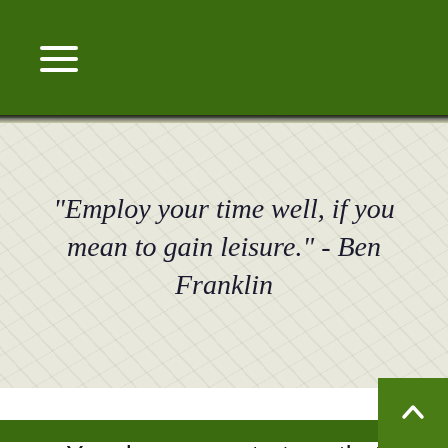[Figure (other): Green navigation header bar with hamburger menu icon (three horizontal white lines)]
"Employ your time well, if you mean to gain leisure." - Ben Franklin
You deserve a strategy that adapts to your needs.